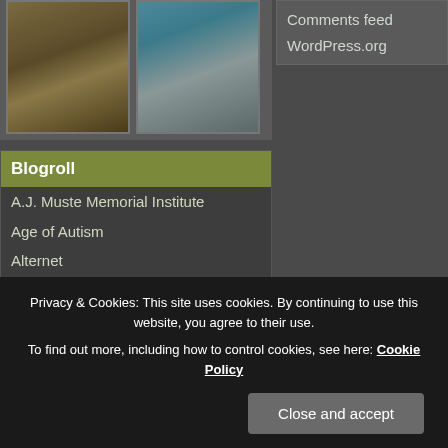[Figure (photo): Two photos side by side: left shows items on a surface, right shows a person in a teal shirt]
Blogroll
A.J. Muste Memorial Institute
Age of Autism
Alternet
America Blog
Amnesty International
Anglers of The AuSable
Bill Moyers Journal
Buzz Flash
Center For Constitutional Rights
Combatants for Peace
Comments feed
WordPress.org
Privacy & Cookies: This site uses cookies. By continuing to use this website, you agree to their use.
To find out more, including how to control cookies, see here: Cookie Policy
Close and accept
Dissident voice